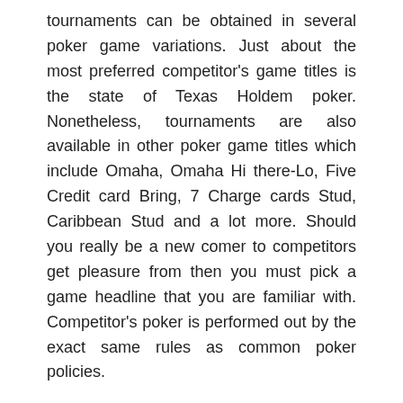tournaments can be obtained in several poker game variations. Just about the most preferred competitor's game titles is the state of Texas Holdem poker. Nonetheless, tournaments are also available in other poker game titles which include Omaha, Omaha Hi there-Lo, Five Credit card Bring, 7 Charge cards Stud, Caribbean Stud and a lot more. Should you really be a new comer to competitors get pleasure from then you must pick a game headline that you are familiar with. Competitor's poker is performed out by the exact same rules as common poker policies.
While many online tournaments need an access cost there are free roll tournaments that a great many poker websites supply as bonus bargains or promotions for his or her athletes. A no cost roll poker levels of competition are a competition as soon as the